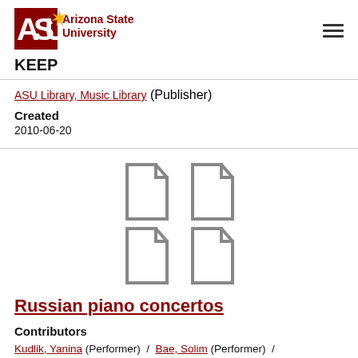[Figure (logo): Arizona State University logo with ASU text and sunburst icon]
KEEP
ASU Library, Music Library (Publisher)
Created
2010-06-20
[Figure (illustration): Four document/file icons arranged in a 2x2 grid]
Russian piano concertos
Contributors
Kudlik, Yanina (Performer) / Bae, Solim (Performer) / Hamilton, Robert, 1937- (Performer) /